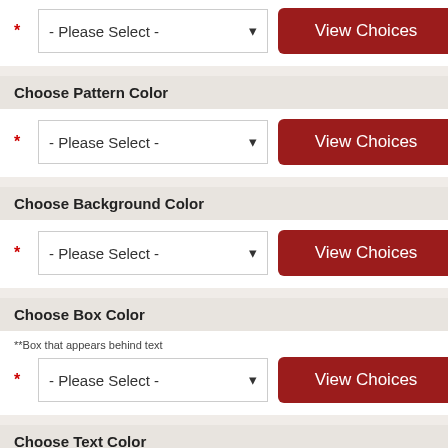[Figure (screenshot): Top partial section with Please Select dropdown and View Choices button]
Choose Pattern Color
[Figure (screenshot): Please Select dropdown with View Choices button for Pattern Color]
Choose Background Color
[Figure (screenshot): Please Select dropdown with View Choices button for Background Color]
Choose Box Color
**Box that appears behind text
[Figure (screenshot): Please Select dropdown with View Choices button for Box Color]
Choose Text Color
[Figure (screenshot): Please Select dropdown with View Choices button for Text Color (partially visible)]